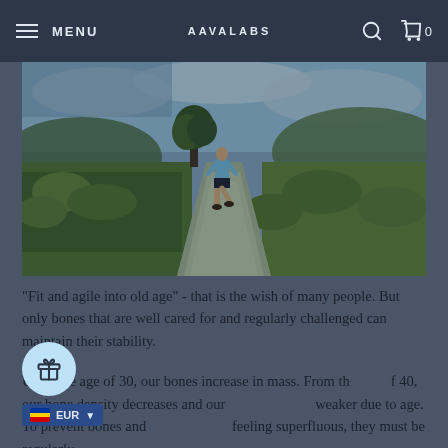MENU | AAVALABS | 0
[Figure (photo): Person running away from the camera along a rural path surrounded by green grass and trees, overcast sky with blue patches, taken in a countryside landscape.]
"Fit and agile into old age" - that is the wish of many people. But only bones that are well cared for and regularly challenged can maintain their stability.
Up to the age of 30, our bones increase in mass. From the age of 40, our bone density decreases and our bones become weaker due to age. To prevent bones and muscles from feeling superfluous, they must be regularly